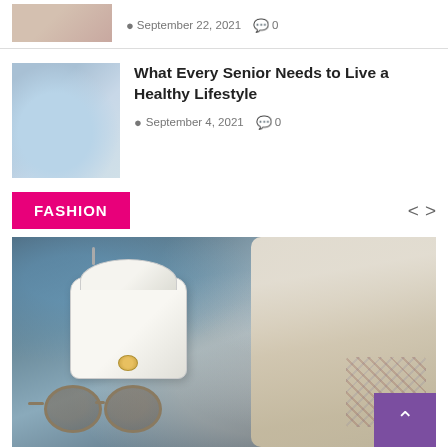[Figure (photo): Partial top article thumbnail image, showing cropped person]
September 22, 2021  0
[Figure (photo): Person lying on bed reading, lifestyle image]
What Every Senior Needs to Live a Healthy Lifestyle
September 4, 2021  0
FASHION
[Figure (photo): Fashion photo showing woman with white handbag and sunglasses outdoors]